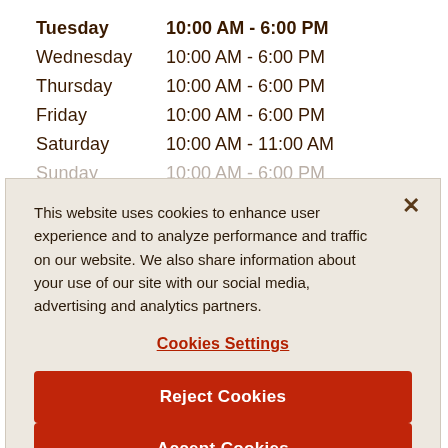| Day | Hours |
| --- | --- |
| Tuesday | 10:00 AM - 6:00 PM |
| Wednesday | 10:00 AM - 6:00 PM |
| Thursday | 10:00 AM - 6:00 PM |
| Friday | 10:00 AM - 6:00 PM |
| Saturday | 10:00 AM - 11:00 AM |
| Sunday | 10:00 AM - 6:00 PM |
This website uses cookies to enhance user experience and to analyze performance and traffic on our website. We also share information about your use of our site with our social media, advertising and analytics partners.
Cookies Settings
Reject Cookies
Accept Cookies